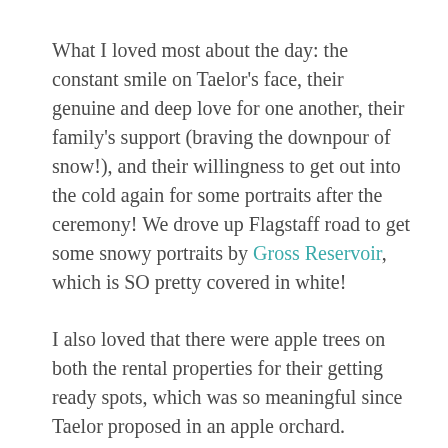What I loved most about the day: the constant smile on Taelor's face, their genuine and deep love for one another, their family's support (braving the downpour of snow!), and their willingness to get out into the cold again for some portraits after the ceremony! We drove up Flagstaff road to get some snowy portraits by Gross Reservoir, which is SO pretty covered in white!
I also loved that there were apple trees on both the rental properties for their getting ready spots, which was so meaningful since Taelor proposed in an apple orchard.